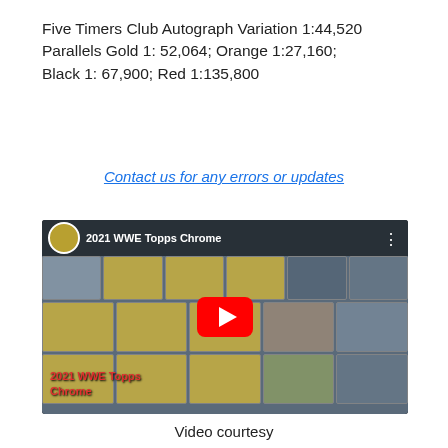Five Timers Club Autograph Variation 1:44,520 Parallels Gold 1: 52,064; Orange 1:27,160; Black 1: 67,900; Red 1:135,800
Contact us for any errors or updates
[Figure (screenshot): YouTube video thumbnail for 2021 WWE Topps Chrome showing trading cards in binder sleeves with red play button overlay and title bar at top]
Video courtesy